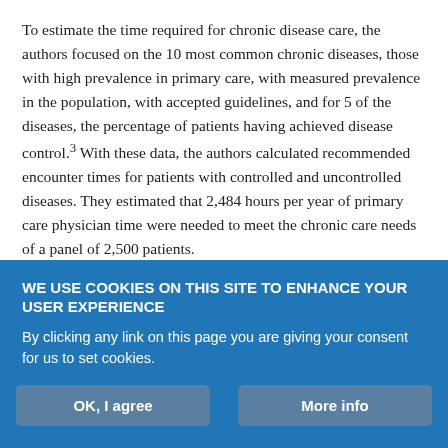To estimate the time required for chronic disease care, the authors focused on the 10 most common chronic diseases, those with high prevalence in primary care, with measured prevalence in the population, with accepted guidelines, and for 5 of the diseases, the percentage of patients having achieved disease control.³ With these data, the authors calculated recommended encounter times for patients with controlled and uncontrolled diseases. They estimated that 2,484 hours per year of primary care physician time were needed to meet the chronic care needs of a panel of 2,500 patients.
Finally, using data from the National Ambulatory Medical Care Survey, the authors estimated that physicians could spend...
WE USE COOKIES ON THIS SITE TO ENHANCE YOUR USER EXPERIENCE
By clicking any link on this page you are giving your consent for us to set cookies.